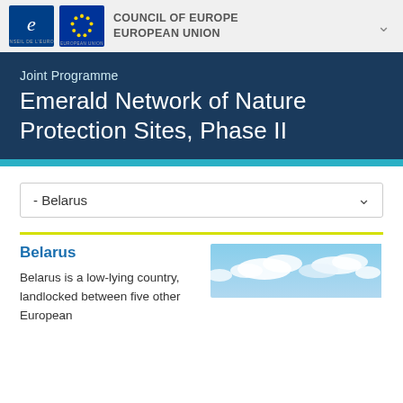COUNCIL OF EUROPE EUROPEAN UNION
Joint Programme
Emerald Network of Nature Protection Sites, Phase II
- Belarus
Belarus
[Figure (photo): A wide landscape photo showing a blue sky with white clouds, appearing to be a low-lying countryside scene from Belarus.]
Belarus is a low-lying country, landlocked between five other European